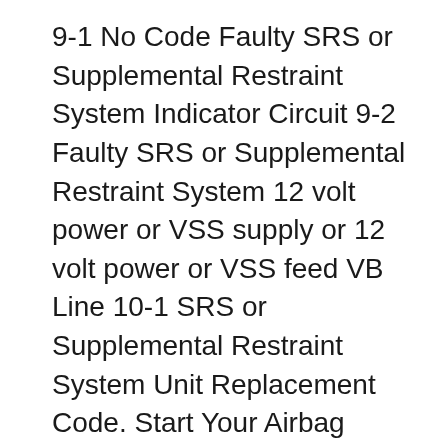9-1 No Code Faulty SRS or Supplemental Restraint System Indicator Circuit 9-2 Faulty SRS or Supplemental Restraint System 12 volt power or VSS supply or 12 volt power or VSS feed VB Line 10-1 SRS or Supplemental Restraint System Unit Replacement Code. Start Your Airbag Module Reset Order Today! ACURA 1999-2002 All Models Codes: Honda Accord: How to Bypass SRS in Aftermarket Steering Wheel. Maybe your SRS indicator light is on because you replaced your steering wheel, or maybe it just stays on and you have no idea why. Either way, you can bypass the car's warning system in under an